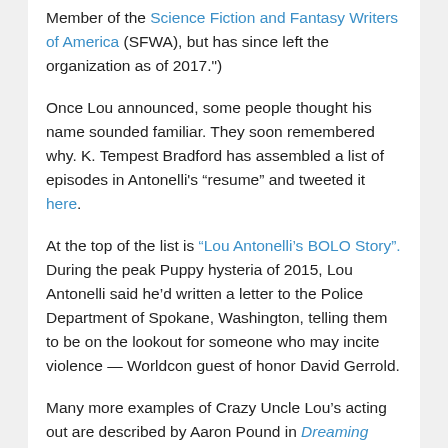Member of the Science Fiction and Fantasy Writers of America (SFWA), but has since left the organization as of 2017.")
Once Lou announced, some people thought his name sounded familiar. They soon remembered why. K. Tempest Bradford has assembled a list of episodes in Antonelli's “resume” and tweeted it here.
At the top of the list is “Lou Antonelli’s BOLO Story”. During the peak Puppy hysteria of 2015, Lou Antonelli said he’d written a letter to the Police Department of Spokane, Washington, telling them to be on the lookout for someone who may incite violence — Worldcon guest of honor David Gerrold.
Many more examples of Crazy Uncle Lou’s acting out are described by Aaron Pound in Dreaming About Other Worlds.
Should it really be the case that SFWA has a leadership